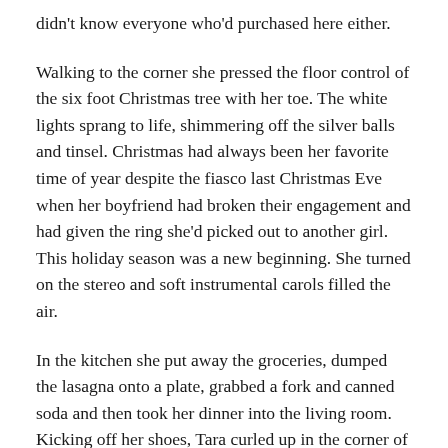didn't know everyone who'd purchased here either.
Walking to the corner she pressed the floor control of the six foot Christmas tree with her toe. The white lights sprang to life, shimmering off the silver balls and tinsel. Christmas had always been her favorite time of year despite the fiasco last Christmas Eve when her boyfriend had broken their engagement and had given the ring she'd picked out to another girl. This holiday season was a new beginning. She turned on the stereo and soft instrumental carols filled the air.
In the kitchen she put away the groceries, dumped the lasagna onto a plate, grabbed a fork and canned soda and then took her dinner into the living room. Kicking off her shoes, Tara curled up in the corner of the overstuffed leather couch. She rested the plate on her legs and turned the television to the local news with the volume down.